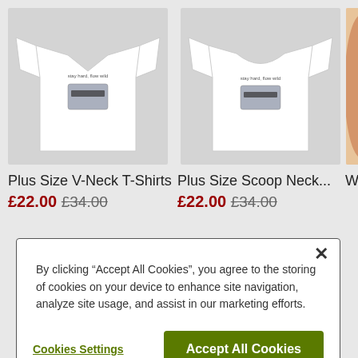[Figure (photo): White plus size v-neck t-shirt with small graphic print on a gray background]
Plus Size V-Neck T-Shirts
£22.00 £34.00
[Figure (photo): White plus size scoop neck t-shirt with small graphic print on a gray background]
Plus Size Scoop Neck...
£22.00 £34.00
[Figure (photo): Partial view of a woman wearing a white t-shirt, cropped on the right edge]
Wom
By clicking “Accept All Cookies”, you agree to the storing of cookies on your device to enhance site navigation, analyze site usage, and assist in our marketing efforts.
Cookies Settings
Accept All Cookies